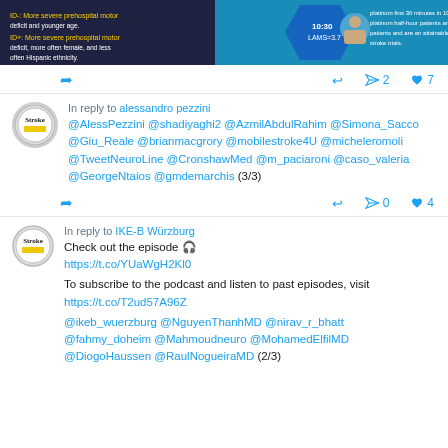[Figure (screenshot): Social media image strip from a tweet about stroke research — dark blue infographic with text about prehospital motor deficit and treatment targets]
Tweet actions: share, reply, 2 retweets, 7 likes
In reply to
alessandro pezzini
@AlessPezzini @shadiyaghi2 @AzmilAbdulRahim @Simona_Sacco @Giu_Reale @brianmacgrory @mobilestroke4U @micheleromoli @TweetNeuroLine @CronshawMed @m_paciaroni @caso_valeria @GeorgeNtaios @gmdemarchis (3/3)
Tweet actions: share, reply, 0 retweets, 4 likes
In reply to
IKE-B Würzburg
Check out the episode 🎧
https://t.co/YUaWgH2Kl0

To subscribe to the podcast and listen to past episodes, visit
https://t.co/T2ud57A96Z

@ikeb_wuerzburg @NguyenThanhMD @nirav_r_bhatt @fahmy_doheim @Mahmoudneuro @MohamedElfilMD @DiogoHaussen @RaulNogueiraMD (2/3)